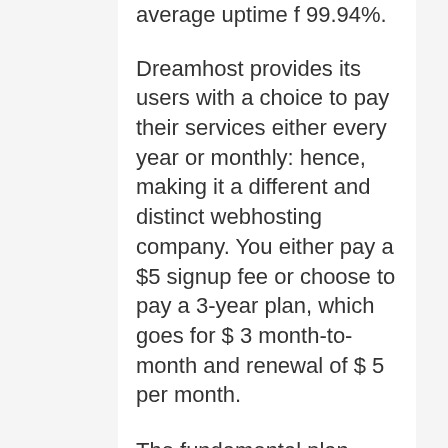average uptime f 99.94%.
Dreamhost provides its users with a choice to pay their services either every year or monthly: hence, making it a different and distinct webhosting company. You either pay a $5 signup fee or choose to pay a 3-year plan, which goes for $ 3 month-to-month and renewal of $ 5 per month.
The fundamental plan includes one website, totally free domain, 50 GB SSD storage, and unrestricted bandwidth. For a monthly cost of $1.67, you can get an email and a Dreamhost home builder.
Security is extremely preserved as it features a robust LetEncrypt SSL. That